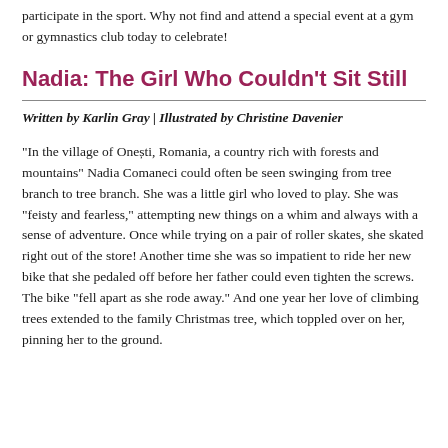participate in the sport. Why not find and attend a special event at a gym or gymnastics club today to celebrate!
Nadia: The Girl Who Couldn't Sit Still
Written by Karlin Gray | Illustrated by Christine Davenier
“In the village of Onești, Romania, a country rich with forests and mountains” Nadia Comaneci could often be seen swinging from tree branch to tree branch. She was a little girl who loved to play. She was “feisty and fearless,” attempting new things on a whim and always with a sense of adventure. Once while trying on a pair of roller skates, she skated right out of the store! Another time she was so impatient to ride her new bike that she pedaled off before her father could even tighten the screws. The bike “fell apart as she rode away.” And one year her love of climbing trees extended to the family Christmas tree, which toppled over on her, pinning her to the ground.